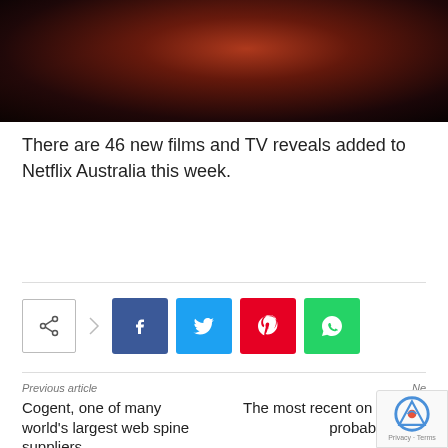[Figure (photo): Dark atmospheric image with reddish-brown tones, appears to show a person or figure in low light]
There are 46 new films and TV reveals added to Netflix Australia this week.
[Figure (infographic): Social share buttons: plain share icon, Facebook (blue), Twitter (cyan), Pinterest (red), WhatsApp (green)]
Previous article
Cogent, one of many world's largest web spine suppliers
Ne
The most recent on Lewin's probabilities of